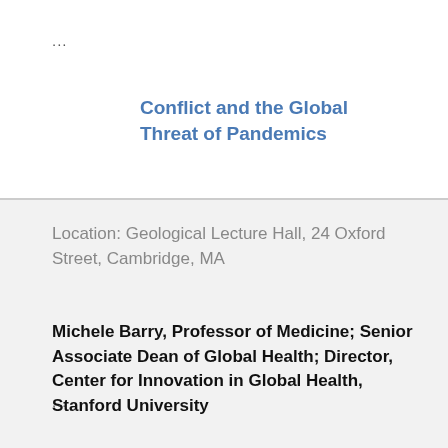...
Conflict and the Global Threat of Pandemics
Location: Geological Lecture Hall, 24 Oxford Street, Cambridge, MA
Michele Barry, Professor of Medicine; Senior Associate Dean of Global Health; Director, Center for Innovation in Global Health, Stanford University
...